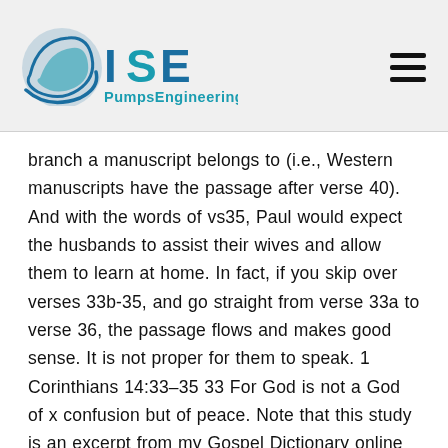ISE PumpsEngineering
branch a manuscript belongs to (i.e., Western manuscripts have the passage after verse 40). And with the words of vs35, Paul would expect the husbands to assist their wives and allow them to learn at home. In fact, if you skip over verses 33b-35, and go straight from verse 33a to verse 36, the passage flows and makes good sense. It is not proper for them to speak. 1 Corinthians 14:33–35 33 For God is not a God of x confusion but of peace. Note that this study is an excerpt from my Gospel Dictionary online course. In each of the above interpretations, the conclusion is the same: 1 Corinthians 14 teaches that women are to be silent